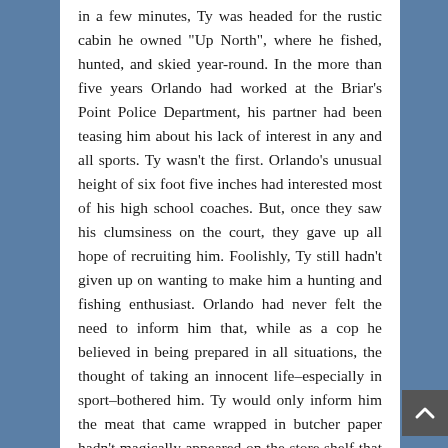in a few minutes, Ty was headed for the rustic cabin he owned "Up North", where he fished, hunted, and skied year-round. In the more than five years Orlando had worked at the Briar's Point Police Department, his partner had been teasing him about his lack of interest in any and all sports. Ty wasn't the first. Orlando's unusual height of six foot five inches had interested most of his high school coaches. But, once they saw his clumsiness on the court, they gave up all hope of recruiting him. Foolishly, Ty still hadn't given up on wanting to make him a hunting and fishing enthusiast. Orlando had never felt the need to inform him that, while as a cop he believed in being prepared in all situations, the thought of taking an innocent life–especially in sport–bothered him. Ty would only inform him the meat that came wrapped in butcher paper hadn't magically appeared on the store shelf that way.
A cell phone rang, and Orlando recognized his own ringtone. His first thought–his fervent wish–was, Sylvia. He averted his gaze from Ty's knowing one as